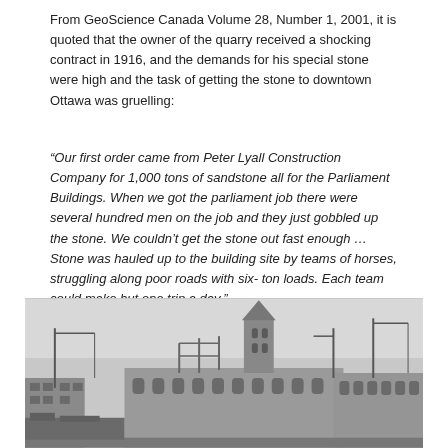From GeoScience Canada Volume 28, Number 1, 2001, it is quoted that the owner of the quarry received a shocking contract in 1916, and the demands for his special stone were high and the task of getting the stone to downtown Ottawa was gruelling:
“Our first order came from Peter Lyall Construction Company for 1,000 tons of sandstone all for the Parliament Buildings. When we got the parliament job there were several hundred men on the job and they just gobbled up the stone. We couldn’t get the stone out fast enough …Stone was hauled up to the building site by teams of horses, struggling along poor roads with six- ton loads. Each team could make but one trip a day.”
[Figure (photo): Black and white historical photograph showing the Parliament Buildings under construction, with cranes visible and the gothic-style architecture partially built.]